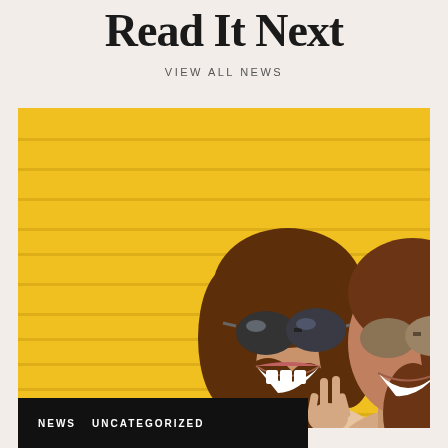Read It Next
VIEW ALL NEWS
[Figure (photo): Two young women laughing and making peace signs against a bright yellow wall background, both wearing sunglasses]
NEWS   UNCATEGORIZED